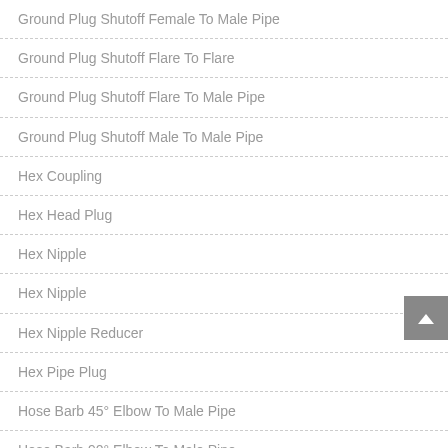Ground Plug Shutoff Female To Male Pipe
Ground Plug Shutoff Flare To Flare
Ground Plug Shutoff Flare To Male Pipe
Ground Plug Shutoff Male To Male Pipe
Hex Coupling
Hex Head Plug
Hex Nipple
Hex Nipple
Hex Nipple Reducer
Hex Pipe Plug
Hose Barb 45° Elbow To Male Pipe
Hose Barb 90° Elbow To Male Pipe
Hose Barb To Female Pipe